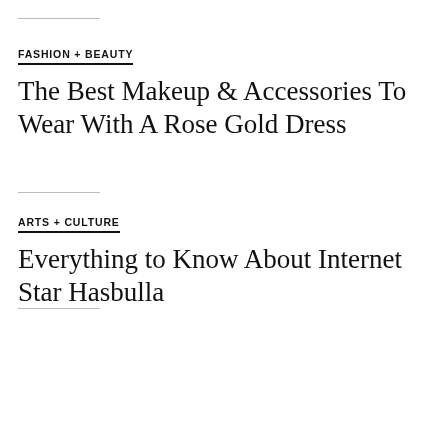FASHION + BEAUTY
The Best Makeup & Accessories To Wear With A Rose Gold Dress
ARTS + CULTURE
Everything to Know About Internet Star Hasbulla